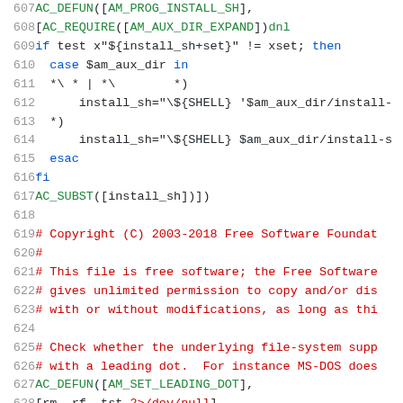[Figure (screenshot): Source code viewer showing lines 607-628 of an Autoconf/shell script with syntax highlighting. Line numbers in grey on the left, code on the right with green for macro names, blue for shell keywords, red for comments, and black for default text.]